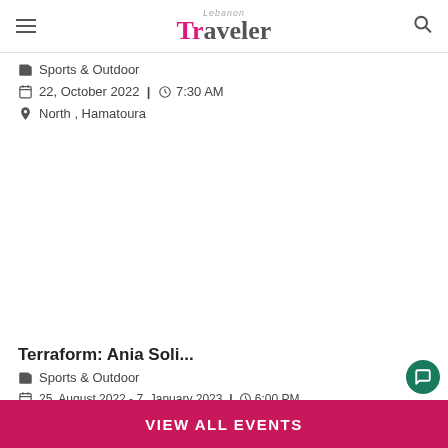Lebanon Traveler
Sports & Outdoor
22, October 2022 | 7:30 AM
North , Hamatoura
Terraform: Ania Soli...
Sports & Outdoor
25, August 2022 - 7, January 2023 | 6:00 PM
Beirut , Quarantina
VIEW ALL EVENTS